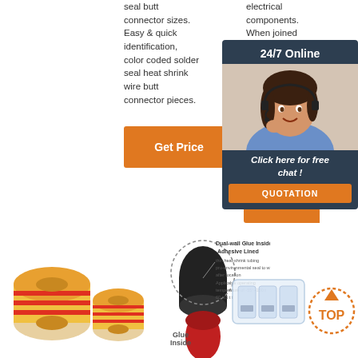seal butt connector sizes. Easy & quick identification, color coded solder seal heat shrink wire butt connector pieces.
electrical components. When joined using solder, a connection is more water resistant, better optimized when it encounters corrosion.
[Figure (other): Orange 'Get Price' button]
[Figure (other): Orange 'Get...' button (partially visible)]
[Figure (other): 24/7 Online chat overlay with customer service representative, 'Click here for free chat!' text and QUOTATION button]
[Figure (photo): Yellow and red labeled cable roll / heat shrink products]
[Figure (photo): Dual-wall glue inside adhesive lined heat shrink connectors with diagram labels]
Glue Inside
[Figure (photo): Transparent wire connector block]
[Figure (logo): TOP badge in orange dotted circle]